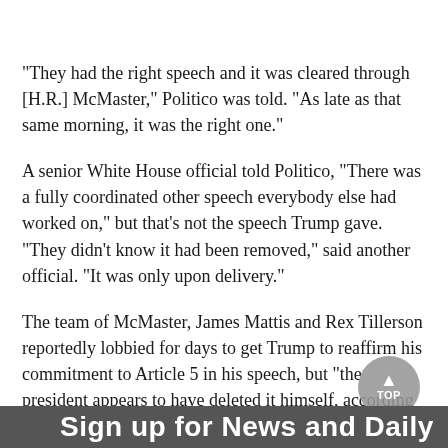"They had the right speech and it was cleared through [H.R.] McMaster," Politico was told. "As late as that same morning, it was the right one."
A senior White House official told Politico, "There was a fully coordinated other speech everybody else had worked on," but that's not the speech Trump gave. "They didn't know it had been removed," said another official. "It was only upon delivery."
The team of McMaster, James Mattis and Rex Tillerson reportedly lobbied for days to get Trump to reaffirm his commitment to Article 5 in his speech, but "the president appears to have deleted it himself, according to one version making the rounds inside the government," Politico reports.
"The failure to say something has had a very dangerous and damaging effect on the most successful military alliance in history," Strobe Talbott, former deputy secretary of state under former President Bill Clinton, told Politico.
Sign up for News and Daily...